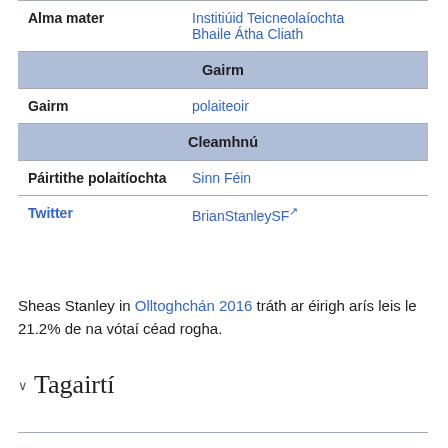| Alma mater | Institiúid Teicneolaíochta Bhaile Átha Cliath |
| Gairm (section header) |  |
| Gairm | polaiteoir |
| Cleamhnú (section header) |  |
| Páirtithe polaitíochta | Sinn Féin |
| Twitter | BrianStanleySF |
Sheas Stanley in Olltoghchán 2016 tráth ar éirigh arís leis le 21.2% de na vótaí céad rogha.
Tagairtí